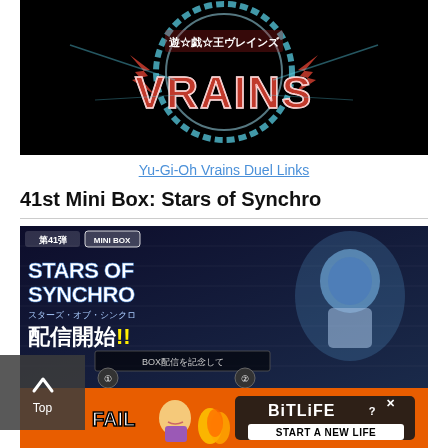[Figure (photo): Yu-Gi-Oh VRAINS logo on black background with blue circular energy effect and red lightning bolt design]
Yu-Gi-Oh Vrains Duel Links
41st Mini Box: Stars of Synchro
[Figure (photo): Stars of Synchro Mini Box promotional image with Japanese text showing 第41弾 MINI BOX STARS OF SYNCHRO 配信開始!! BOX配信を記念して, featuring a robot/synchro monster character on the right side]
[Figure (photo): BitLife advertisement banner with orange background showing text START A NEW LIFE and FAIL with a cartoon character]